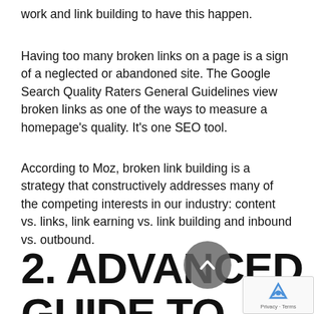work and link building to have this happen.
Having too many broken links on a page is a sign of a neglected or abandoned site. The Google Search Quality Raters General Guidelines view broken links as one of the ways to measure a homepage's quality. It's one SEO tool.
According to Moz, broken link building is a strategy that constructively addresses many of the competing interests in our industry: content vs. links, link earning vs. link building and inbound vs. outbound.
2. ADVANCED GUIDE TO LINK BUILDING